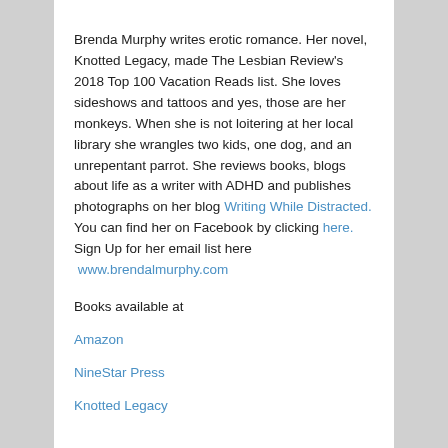Brenda Murphy writes erotic romance. Her novel, Knotted Legacy, made The Lesbian Review's 2018 Top 100 Vacation Reads list. She loves sideshows and tattoos and yes, those are her monkeys. When she is not loitering at her local library she wrangles two kids, one dog, and an unrepentant parrot. She reviews books, blogs about life as a writer with ADHD and publishes photographs on her blog Writing While Distracted. You can find her on Facebook by clicking here.    Sign Up for her email list here  www.brendalmurphy.com
Books available at
Amazon
NineStar Press
Knotted Legacy